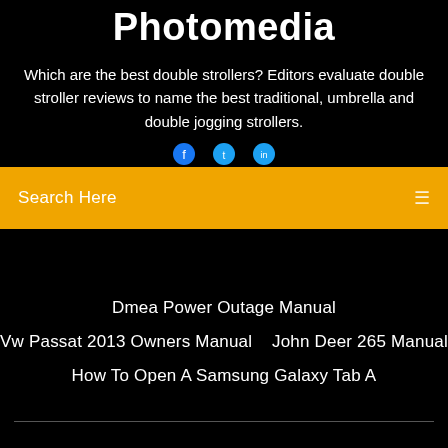Photomedia
Which are the best double strollers? Editors evaluate double stroller reviews to name the best traditional, umbrella and double jogging strollers.
[Figure (other): Three circular social media icons (Facebook, Twitter, etc.) partially visible]
Search Here
Dmea Power Outage Manual
Vw Passat 2013 Owners Manual   John Deer 265 Manual
How To Open A Samsung Galaxy Tab A
Copyright ©2022 All rights reserved